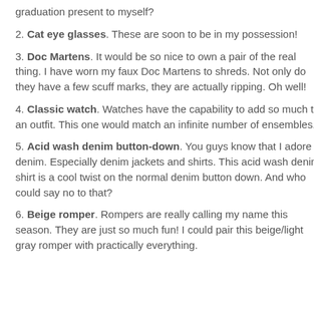graduation present to myself?
2. Cat eye glasses. These are soon to be in my possession!
3. Doc Martens. It would be so nice to own a pair of the real thing. I have worn my faux Doc Martens to shreds. Not only do they have a few scuff marks, they are actually ripping. Oh well!
4. Classic watch. Watches have the capability to add so much to an outfit. This one would match an infinite number of ensembles.
5. Acid wash denim button-down. You guys know that I adore denim. Especially denim jackets and shirts. This acid wash denim shirt is a cool twist on the normal denim button down. And who could say no to that?
6. Beige romper. Rompers are really calling my name this season. They are just so much fun! I could pair this beige/light gray romper with practically everything.